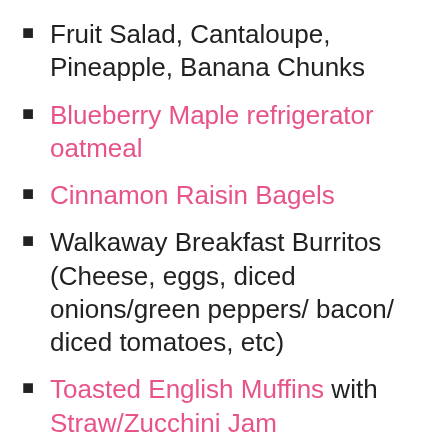Fruit Salad, Cantaloupe, Pineapple, Banana Chunks
Blueberry Maple refrigerator oatmeal
Cinnamon Raisin Bagels
Walkaway Breakfast Burritos (Cheese, eggs, diced onions/green peppers/ bacon/ diced tomatoes, etc)
Toasted English Muffins with Straw/Zucchini Jam
Waffles with Sliced Fruit on top
Bananas dipped in yogurt, rolled in granola run out the door!
Biscuits & Gravy, Eggs, sausage